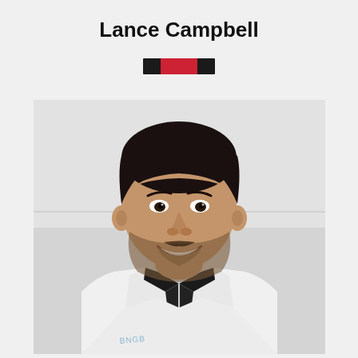Lance Campbell
[Figure (illustration): A belt rank indicator showing a red belt with black panels on each end, representing a martial arts belt rank (red/black belt in Brazilian Jiu-Jitsu).]
[Figure (photo): A smiling man with dark hair and a beard, wearing a white Brazilian Jiu-Jitsu gi with 'BNGB' text visible, over a black shirt. He is photographed against a light gray/white background.]